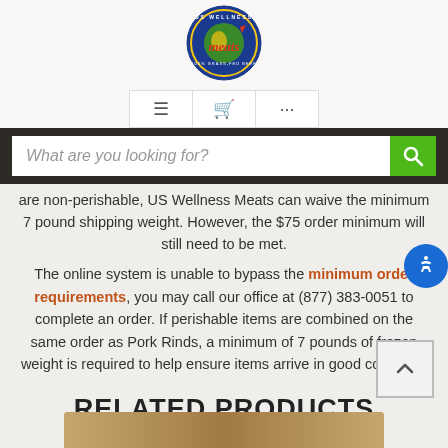[Figure (logo): US Wellness Meats circular logo with blue background and red meats text]
[Figure (screenshot): Navigation icons: hamburger menu, shopping cart, ellipsis]
[Figure (screenshot): Dark search bar with italic placeholder text 'What are you looking for?' and green search button]
are non-perishable, US Wellness Meats can waive the minimum 7 pound shipping weight. However, the $75 order minimum will still need to be met.
The online system is unable to bypass the minimum order requirements, you may call our office at (877) 383-0051 to complete an order. If perishable items are combined on the same order as Pork Rinds, a minimum of 7 pounds of frozen weight is required to help ensure items arrive in good condition.
RELATED PRODUCTS